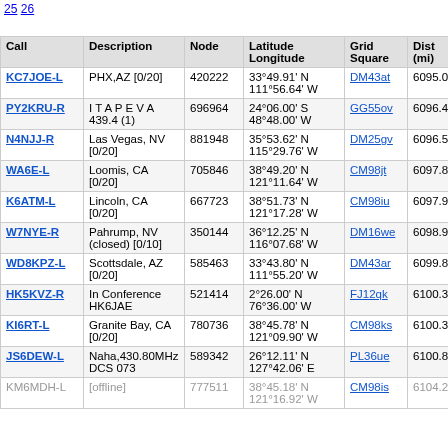25 26
| Call | Description | Node | Latitude Longitude | Grid Square | Dist (mi) | Freq (Mhz |
| --- | --- | --- | --- | --- | --- | --- |
| KC7JOE-L | PHX,AZ [0/20] | 420222 | 33°49.91' N 111°56.64' W | DM43at | 6095.0 |  |
| PY2KRU-R | I T A P E V A 439.4 (1) | 696964 | 24°06.00' S 48°48.00' W | GG55ov | 6096.4 | 439.4 |
| N4NJJ-R | Las Vegas, NV [0/20] | 881948 | 35°53.62' N 115°29.76' W | DM25gv | 6096.5 |  |
| WA6E-L | Loomis, CA [0/20] | 705846 | 38°49.20' N 121°11.64' W | CM98jt | 6097.8 |  |
| K6ATM-L | Lincoln, CA [0/20] | 667723 | 38°51.73' N 121°17.28' W | CM98iu | 6097.9 |  |
| W7NYE-R | Pahrump, NV (closed) [0/10] | 350144 | 36°12.25' N 116°07.68' W | DM16we | 6098.9 | 145.1 |
| WD8KPZ-L | Scottsdale, AZ [0/20] | 585463 | 33°43.80' N 111°55.20' W | DM43ar | 6099.8 |  |
| HK5KVZ-R | In Conference HK6JAE | 521414 | 2°26.00' N 76°36.00' W | FJ12qk | 6100.3 | 147.0 |
| KI6RT-L | Granite Bay, CA [0/20] | 780736 | 38°45.78' N 121°09.90' W | CM98ks | 6100.3 |  |
| JS6DEW-L | Naha,430.80MHz DCS 073 | 589342 | 26°12.11' N 127°42.06' E | PL36ue | 6100.8 | 430.8 |
| KM6MDH-L | [offline] | 777511 | 38°45.18' N 121°16.92' W | CM98is | 6104.2 |  |